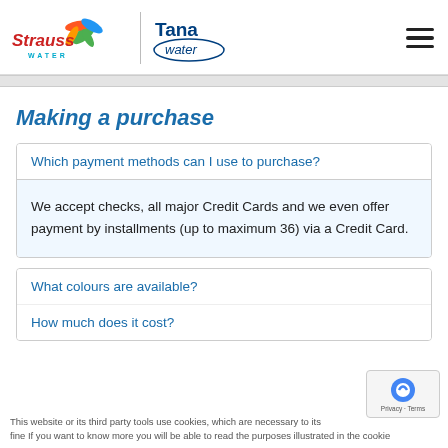[Figure (logo): Strauss Water and Tana Water logos side by side with a vertical divider, plus hamburger menu icon]
Making a purchase
Which payment methods can I use to purchase?
We accept checks, all major Credit Cards and we even offer payment by installments (up to maximum 36) via a Credit Card.
What colours are available?
How much does it cost?
This website or its third party tools use cookies, which are necessary to its fine If you want to know more you will be able to read the purposes illustrated in the cookie